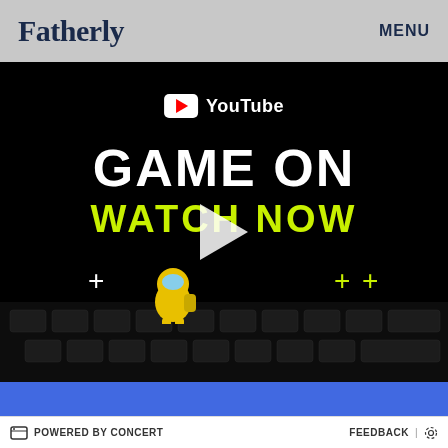Fatherly | MENU
[Figure (screenshot): YouTube Game On – Watch Now promotional video thumbnail on black background with keyboard graphic, Among Us character, and plus signs]
JOIN YOUR FAVORITE CREATORS IN A LIVE GAMING EVENT, UNLIKE ANY OTHER!
POWERED BY CONCERT | FEEDBACK | ⚙